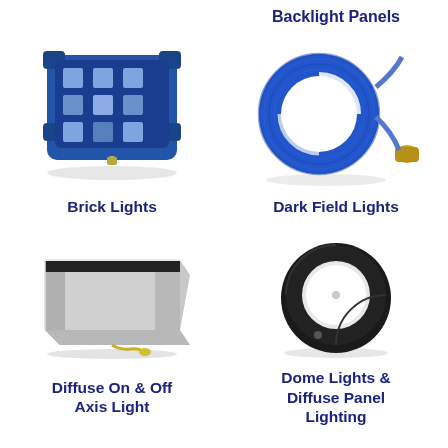Backlight Panels
[Figure (photo): Blue brick light module with multiple LED emitters in a rectangular housing]
[Figure (photo): Blue circular ring dark field light with cable connector]
Brick Lights
Dark Field Lights
[Figure (photo): Silver rectangular diffuse on and off axis light with yellow cable]
[Figure (photo): Black dome light with white diffuse panel lighting insert]
Diffuse On & Off Axis Light
Dome Lights & Diffuse Panel Lighting